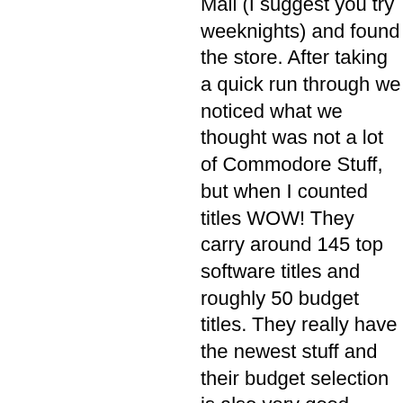Mall (I suggest you try weeknights) and found the store. After taking a quick run through we noticed what we thought was not a lot of Commodore Stuff, but when I counted titles WOW! They carry around 145 top software titles and roughly 50 budget titles. They really have the newest stuff and their budget selection is also very good. Prices were all discounted from list. I stopped by the magazine rack and found two titles I had never heard of that looked good. They have a great selection of computer magazines! Also, a very large of selection of